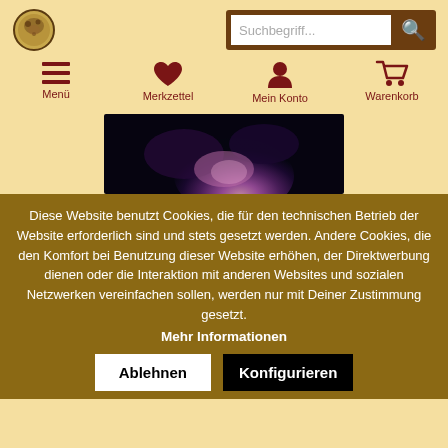[Figure (logo): Circular logo/emblem in top left corner]
[Figure (screenshot): Search bar with placeholder text 'Suchbegriff...' and search icon on dark brown background]
Menü
Merkzettel
Mein Konto
Warenkorb
[Figure (photo): Dark purple/violet toned image, appears to show a figure or creature in a dark forest setting]
Diese Website benutzt Cookies, die für den technischen Betrieb der Website erforderlich sind und stets gesetzt werden. Andere Cookies, die den Komfort bei Benutzung dieser Website erhöhen, der Direktwerbung dienen oder die Interaktion mit anderen Websites und sozialen Netzwerken vereinfachen sollen, werden nur mit Deiner Zustimmung gesetzt.
Mehr Informationen
Ablehnen
Konfigurieren